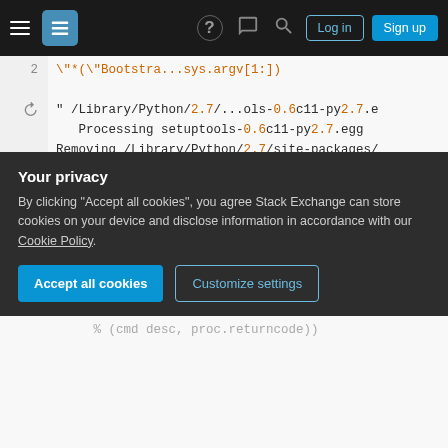Stack Exchange navigation bar with hamburger menu, logo, help, chat, search icons, Log in and Sign up buttons
[Figure (screenshot): Code block showing terminal output from Python setuptools installation including error messages and traceback]
Your privacy
By clicking "Accept all cookies", you agree Stack Exchange can store cookies on your device and disclose information in accordance with our Cookie Policy.
Accept all cookies   Customize settings
[Figure (screenshot): Bottom portion of code block showing more traceback output]